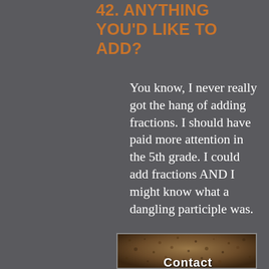42. ANYTHING YOU'D LIKE TO ADD?
You know, I never really got the hang of adding fractions. I should have paid more attention in the 5th grade. I could add fractions AND I might know what a dangling participle was.
[Figure (photo): A photo with a textured spotted/wet surface background with the word 'Contact' overlaid in bold white text at the bottom]